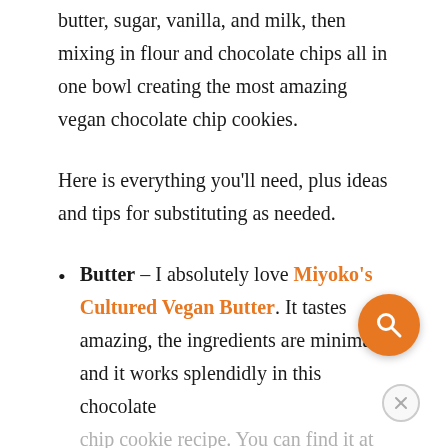butter, sugar, vanilla, and milk, then mixing in flour and chocolate chips all in one bowl creating the most amazing vegan chocolate chip cookies.
Here is everything you'll need, plus ideas and tips for substituting as needed.
Butter – I absolutely love Miyoko's Cultured Vegan Butter. It tastes amazing, the ingredients are minimal and it works splendidly in this chocolate chip cookie recipe. You can find it at